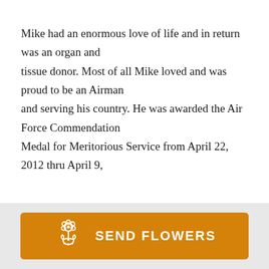Mike had an enormous love of life and in return was an organ and tissue donor. Most of all Mike loved and was proud to be an Airman and serving his country. He was awarded the Air Force Commendation Medal for Meritorious Service from April 22, 2012 thru April 9,
[Figure (other): Orange 'Send Flowers' button with a white bouquet/flower icon on the left and bold white text 'SEND FLOWERS' on the right, on a light gray footer bar background.]